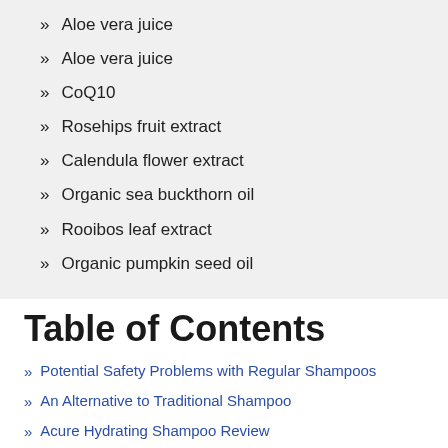Aloe vera juice
Aloe vera juice
CoQ10
Rosehips fruit extract
Calendula flower extract
Organic sea buckthorn oil
Rooibos leaf extract
Organic pumpkin seed oil
Table of Contents
Potential Safety Problems with Regular Shampoos
An Alternative to Traditional Shampoo
Acure Hydrating Shampoo Review
Where to Find Additional Acure Shampoo